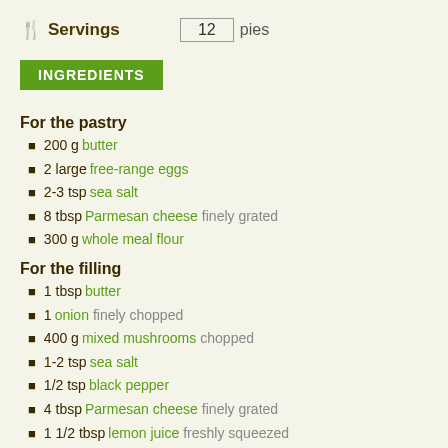Servings  12  pies
INGREDIENTS
For the pastry
200 g butter
2 large free-range eggs
2-3 tsp sea salt
8 tbsp Parmesan cheese finely grated
300 g whole meal flour
For the filling
1 tbsp butter
1 onion finely chopped
400 g mixed mushrooms chopped
1-2 tsp sea salt
1/2 tsp black pepper
4 tbsp Parmesan cheese finely grated
1 1/2 tbsp lemon juice freshly squeezed